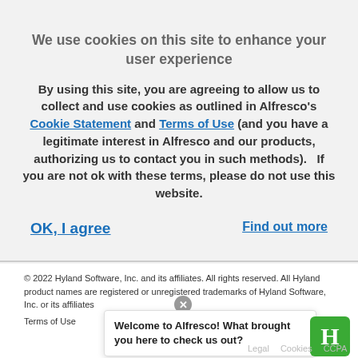We use cookies on this site to enhance your user experience
By using this site, you are agreeing to allow us to collect and use cookies as outlined in Alfresco's Cookie Statement and Terms of Use (and you have a legitimate interest in Alfresco and our products, authorizing us to contact you in such methods).   If you are not ok with these terms, please do not use this website.
OK, I agree
Find out more
© 2022 Hyland Software, Inc. and its affiliates. All rights reserved. All Hyland product names are registered or unregistered trademarks of Hyland Software, Inc. or its affiliates
Terms of Use
Welcome to Alfresco! What brought you here to check us out?
Legal   Cookies   CCPA